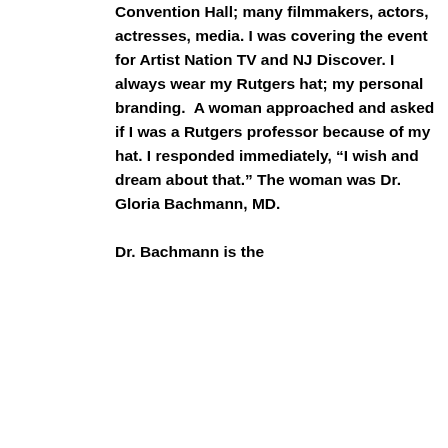Convention Hall; many filmmakers, actors, actresses, media. I was covering the event for Artist Nation TV and NJ Discover. I always wear my Rutgers hat; my personal branding.  A woman approached and asked if I was a Rutgers professor because of my hat. I responded immediately, “I wish and dream about that.” The woman was Dr. Gloria Bachmann, MD.

Dr. Bachmann is the